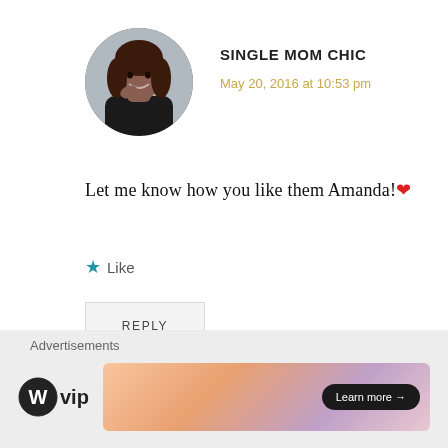[Figure (photo): Circular avatar photo of a smiling woman with long hair, wearing a black top]
SINGLE MOM CHIC
May 20, 2016 at 10:53 pm
Let me know how you like them Amanda! ❤
Like
REPLY
LEAVE A REPLY
Advertisements
[Figure (logo): WordPress VIP logo with circle W and 'vip' text]
[Figure (other): Advertisement banner with gradient background and Learn more button]